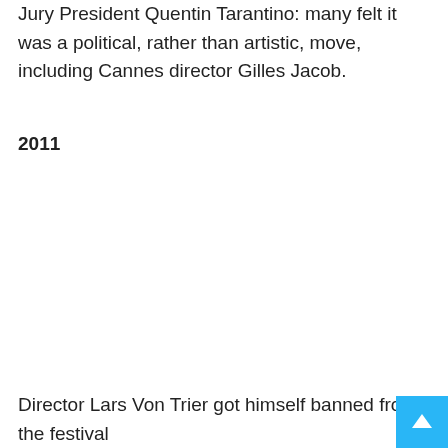Jury President Quentin Tarantino: many felt it was a political, rather than artistic, move, including Cannes director Gilles Jacob.
2011
Director Lars Von Trier got himself banned from the festival